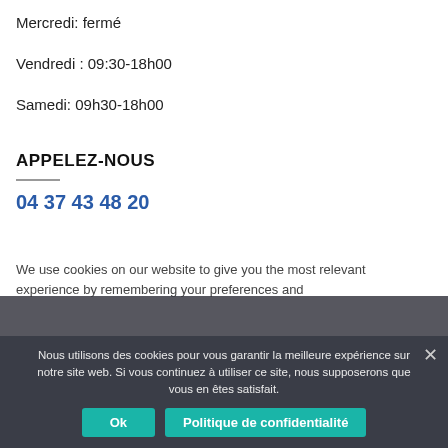Mercredi: fermé
Vendredi : 09:30-18h00
Samedi: 09h30-18h00
APPELEZ-NOUS
04 37 43 48 20
We use cookies on our website to give you the most relevant experience by remembering your preferences and
Nous utilisons des cookies pour vous garantir la meilleure expérience sur notre site web. Si vous continuez à utiliser ce site, nous supposerons que vous en êtes satisfait.